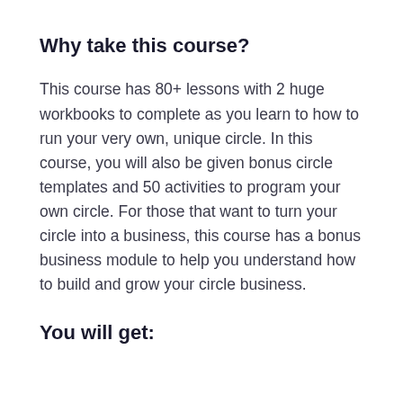Why take this course?
This course has 80+ lessons with 2 huge workbooks to complete as you learn to how to run your very own, unique circle. In this course, you will also be given bonus circle templates and 50 activities to program your own circle. For those that want to turn your circle into a business, this course has a bonus business module to help you understand how to build and grow your circle business.
You will get: